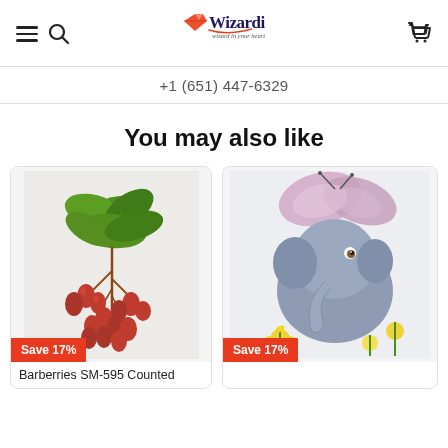Wizardi – wizard in your heart
+1 (651) 447-6329
You may also like
[Figure (photo): Cross-stitch product image of barberries (red berries with green leaves) on a light background with a 'Save 17%' badge]
Barberries SM-595 Counted
[Figure (photo): Cross-stitch product image of a baby elephant with a butterfly on its head, surrounded by yellow dandelions, with a 'Save 17%' badge]